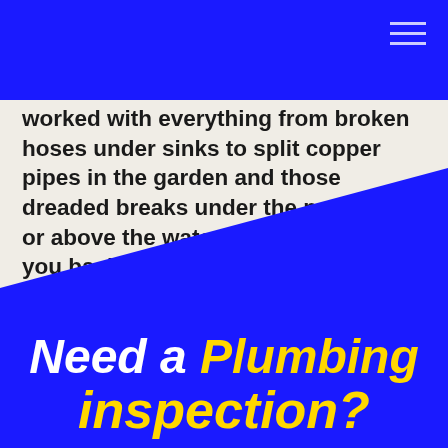worked with everything from broken hoses under sinks to split copper pipes in the garden and those dreaded breaks under the pavement or above the water meter. We'll get you back up as quickly as possible.
Need a Plumbing inspection?